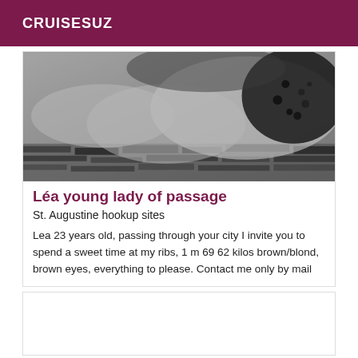CRUISESUZ
[Figure (photo): Black and white photo of a woman lying down wearing a black lace top, with zebra-print fabric visible]
Léa young lady of passage
St. Augustine hookup sites
Lea 23 years old, passing through your city I invite you to spend a sweet time at my ribs, 1 m 69 62 kilos brown/blond, brown eyes, everything to please. Contact me only by mail